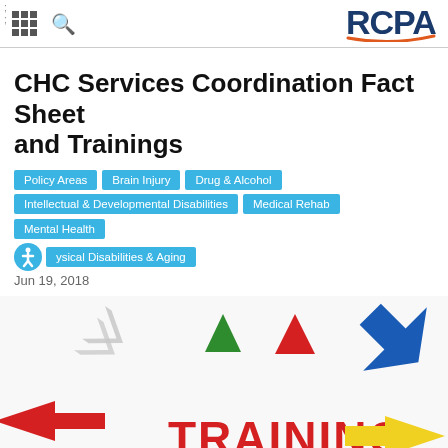;
;
RCPA
CHC Services Coordination Fact Sheet and Trainings
Policy Areas | Brain Injury | Drug & Alcohol | Intellectual & Developmental Disabilities | Medical Rehab | Mental Health | Physical Disabilities & Aging
Jun 19, 2018
[Figure (photo): Colorful 3D arrows pointing in various directions with the word TRAINING in red bold text in the center, on a white background.]